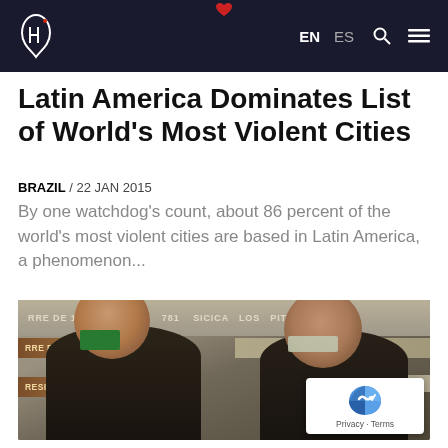InSight Crime — EN ES
Latin America Dominates List of World's Most Violent Cities
BRAZIL / 22 JAN 2015
By one watchdog's count, about 86 percent of the world's most violent cities are based in Latin America, a phenomenon...
[Figure (photo): Two young men standing in front of a wooden sign board, appearing to be in a police or official setting in Latin America]